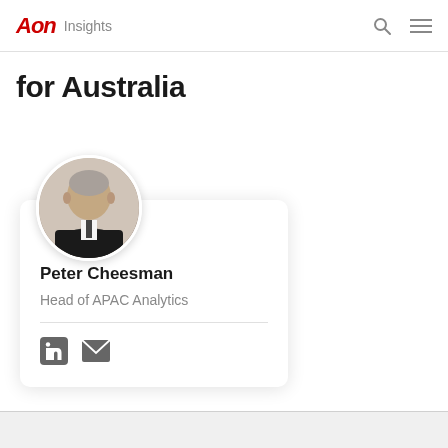AON Insights
for Australia
[Figure (photo): Circular headshot photo of Peter Cheesman, a middle-aged man in a dark suit and tie, against a white background.]
Peter Cheesman
Head of APAC Analytics
[Figure (illustration): LinkedIn and email contact icons below the profile card divider.]